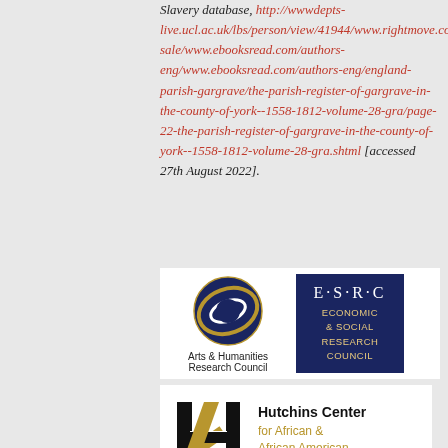Slavery database, http://wwwdepts-live.ucl.ac.uk/lbs/person/view/41944/www.rightmove.co.uk/properties-for-sale/www.ebooksread.com/authors-eng/www.ebooksread.com/authors-eng/england-parish-gargrave/the-parish-register-of-gargrave-in-the-county-of-york--1558-1812-volume-28-gra/page-22-the-parish-register-of-gargrave-in-the-county-of-york--1558-1812-volume-28-gra.shtml [accessed 27th August 2022].
[Figure (logo): Arts & Humanities Research Council logo with circular graphic]
[Figure (logo): ESRC Economic & Social Research Council logo on dark blue background]
[Figure (logo): Hutchins Center for African & African American Research logo with H and slash mark]